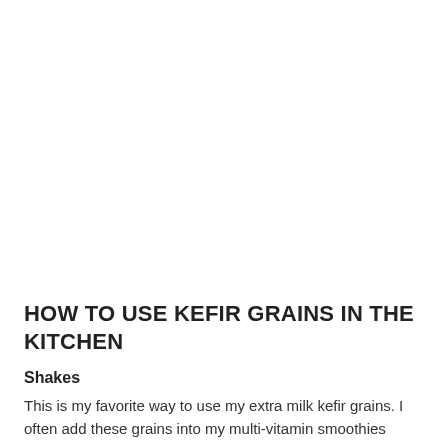HOW TO USE KEFIR GRAINS IN THE KITCHEN
Shakes
This is my favorite way to use my extra milk kefir grains. I often add these grains into my multi-vitamin smoothies